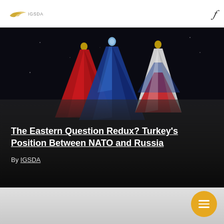IGSDA (logo) | search icon
[Figure (photo): Three flags pointing upward against a dark background — a red flag on the left, a blue flag in the center, and a red/white flag on the right, likely representing Turkey, NATO, and Russia.]
The Eastern Question Redux? Turkey's Position Between NATO and Russia
By IGSDA